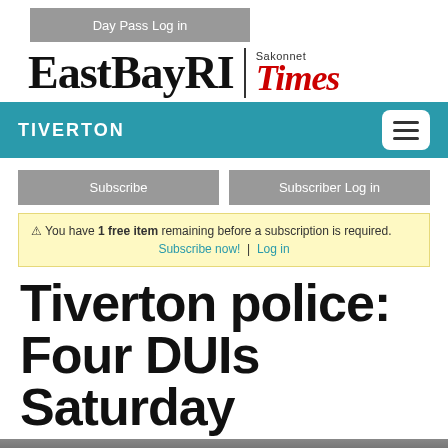Day Pass Log in
[Figure (logo): EastBayRI | Sakonnet Times logo]
TIVERTON
Subscribe
Subscriber Log in
⚠ You have 1 free item remaining before a subscription is required. Subscribe now! | Log in
Tiverton police: Four DUIs Saturday
[Figure (photo): Partial photo at bottom of page]